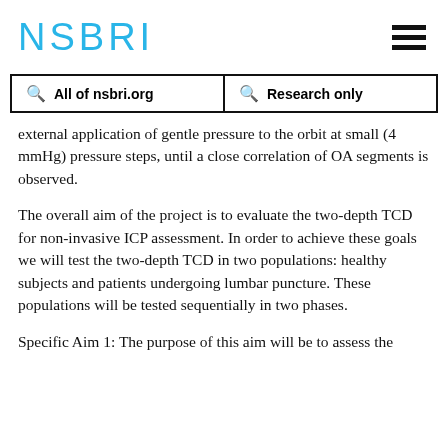NSBRI
All of nsbri.org   Research only
external application of gentle pressure to the orbit at small (4 mmHg) pressure steps, until a close correlation of OA segments is observed.
The overall aim of the project is to evaluate the two-depth TCD for non-invasive ICP assessment. In order to achieve these goals we will test the two-depth TCD in two populations: healthy subjects and patients undergoing lumbar puncture. These populations will be tested sequentially in two phases.
Specific Aim 1: The purpose of this aim will be to assess the